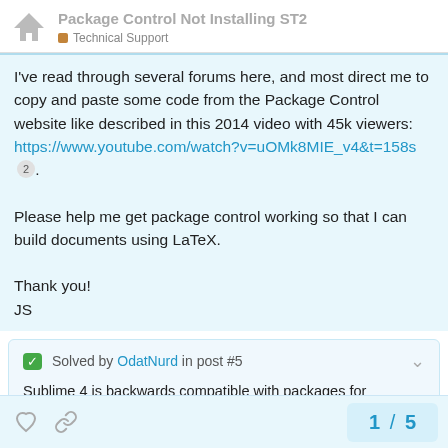Package Control Not Installing ST2 — Technical Support
I've read through several forums here, and most direct me to copy and paste some code from the Package Control website like described in this 2014 video with 45k viewers: https://www.youtube.com/watch?v=uOMk8MIE_v4&t=158s 2.

Please help me get package control working so that I can build documents using LaTeX.

Thank you!
JS
✓ Solved by OdatNurd in post #5
Sublime 4 is backwards compatible with packages for previous versions; as such the latest version should work just fine. Many things still have descriptions that mention only ST3, but that's purely cosmetic.
1 / 5